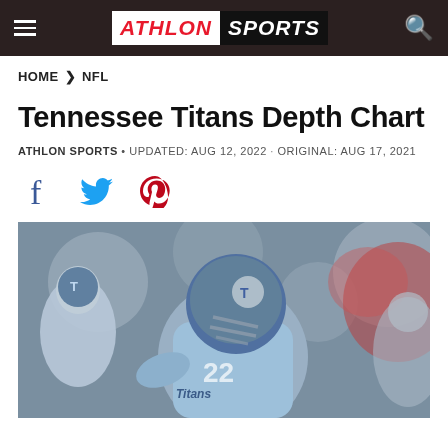ATHLON SPORTS
HOME > NFL
Tennessee Titans Depth Chart
ATHLON SPORTS • UPDATED: AUG 12, 2022 · ORIGINAL: AUG 17, 2021
[Figure (illustration): Social share icons: Facebook, Twitter, Pinterest]
[Figure (photo): Tennessee Titans player in light blue uniform and helmet on field with crowd in background]